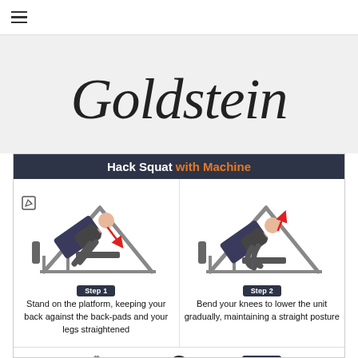≡ (hamburger menu)
Goldstein
[Figure (infographic): Hack Squat with Machine exercise infographic showing Step 1: Stand on the platform, keeping your back against the back-pads and your legs straightened; Step 2: Bend your knees to lower the unit gradually, maintaining a straight posture; Step 3 (partially visible). Includes illustrated figures on a hack squat machine.]